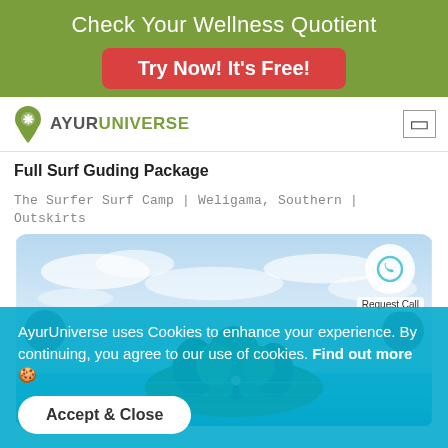Check Your Wellness Quotient
Try Now! It's Free!
[Figure (logo): AyurUniverse logo with green leaf pin and text]
Full Surf Guding Package
The Surfer Surf Camp | Weligama, Southern | Outskirts
[Figure (photo): Coastal scene with blue sky, clouds, and a tree-covered island. Carousel navigation arrows on left and right. Request Call button top right.]
AyurUniverse uses Cookies to enhance your experience. By continuing, you agree to our use of cookies. Find out more 🍪
Accept & Close